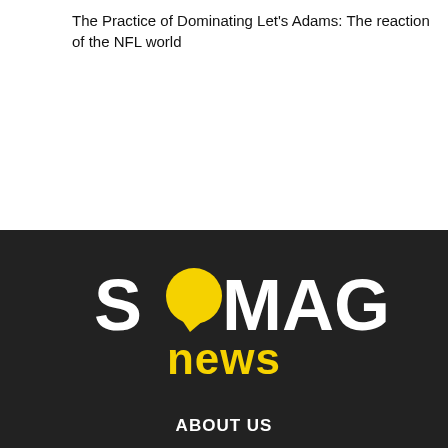The Practice of Dominating Let's Adams: The reaction of the NFL world
[Figure (logo): SoMAG News logo: large white bold text 'S', yellow circle speech bubble replacing the 'O', 'MAG' in white bold, and 'news' in yellow bold below]
ABOUT US